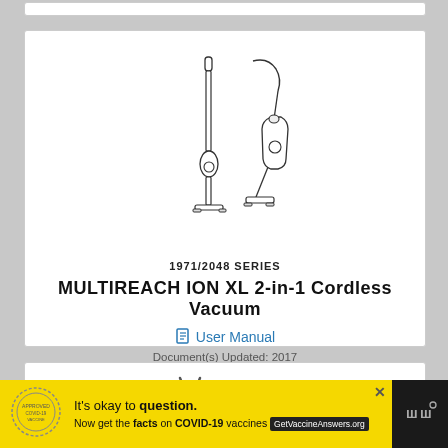[Figure (illustration): Two views of the MULTIREACH ION XL 2-in-1 Cordless Vacuum cleaner - one upright stick configuration and one handheld configuration, shown as line drawings]
1971/2048 SERIES
MULTIREACH ION XL 2-in-1 Cordless Vacuum
User Manual
Document(s) Updated: 2017
[Figure (illustration): Partial view of another product listing card below, showing a partial logo/icon]
It's okay to question. Now get the facts on COVID-19 vaccines GetVaccineAnswers.org